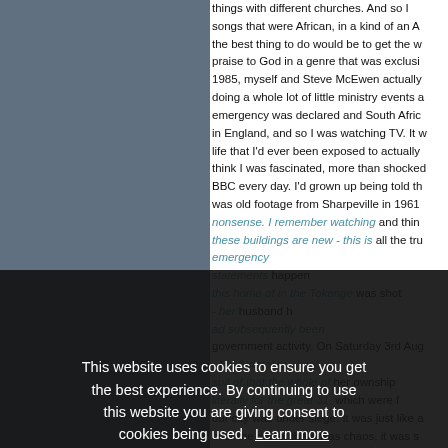things with different churches. And so I songs that were African, in a kind of an A the best thing to do would be to get the w praise to God in a genre that was exclusi 1985, myself and Steve McEwen actually doing a whole lot of little ministry events a emergency was declared and South Afric in England, and so I was watching TV. It w life that I'd ever been exposed to actually think I was fascinated, more than shocked BBC every day. I'd grown up being told th was old footage from Sharpeville in 1961 nonsense. I remember watching and thin these buildings are new - this is all the tr emergency... statements happen this home in the Tokenge was shot - her husband h ad subsequently been government activity. On Saturday 3rd Aug - her funeral w suit of that the whole of her ownship literally for the great 31, which were f our city was under siege. It was just like a over the place, there was chaos, it was s
This website uses cookies to ensure you get the best experience. By continuing to use this website you are giving consent to cookies being used. Learn more
Got it!